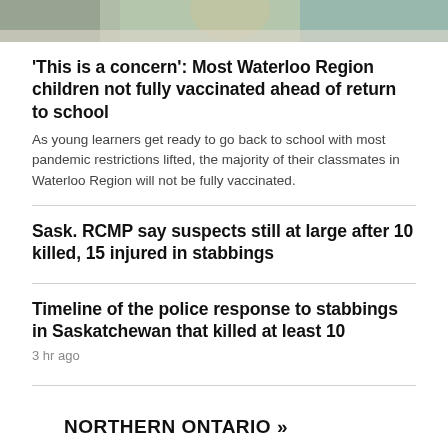[Figure (photo): Partial photo strip showing children/classroom scene at the top of the page]
'This is a concern': Most Waterloo Region children not fully vaccinated ahead of return to school
As young learners get ready to go back to school with most pandemic restrictions lifted, the majority of their classmates in Waterloo Region will not be fully vaccinated.
Sask. RCMP say suspects still at large after 10 killed, 15 injured in stabbings
Timeline of the police response to stabbings in Saskatchewan that killed at least 10
3 hr ago
NORTHERN ONTARIO »